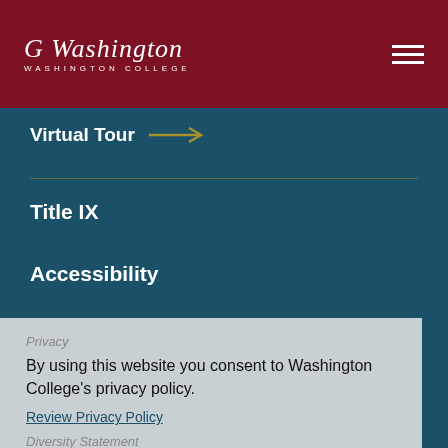Washington College
Virtual Tour →
Title IX
Accessibility
Privacy
By using this website you consent to Washington College's privacy policy.
Review Privacy Policy
Diversity Statement
Dismiss
©